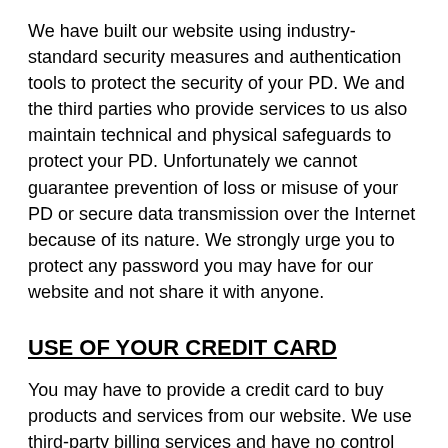We have built our website using industry-standard security measures and authentication tools to protect the security of your PD. We and the third parties who provide services to us also maintain technical and physical safeguards to protect your PD. Unfortunately we cannot guarantee prevention of loss or misuse of your PD or secure data transmission over the Internet because of its nature. We strongly urge you to protect any password you may have for our website and not share it with anyone.
USE OF YOUR CREDIT CARD
You may have to provide a credit card to buy products and services from our website. We use third-party billing services and have no control over them. We use commercially reasonable efforts to ensure that your credit card number is kept strictly confidential by using only third-party billing services that use industry-standard encryption technology to protect your credit card number